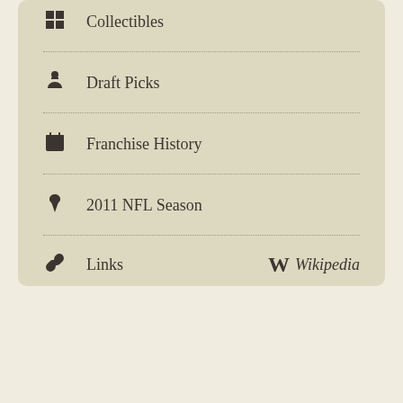Collectibles
Draft Picks
Franchise History
2011 NFL Season
Links  Wikipedia